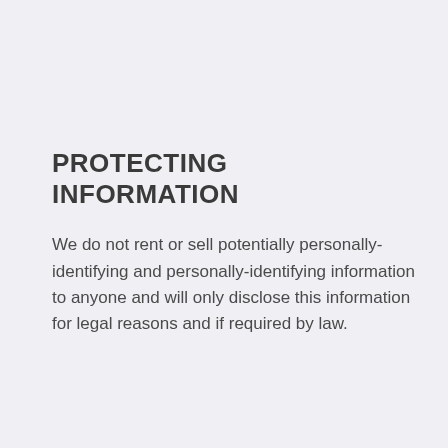PROTECTING INFORMATION
We do not rent or sell potentially personally-identifying and personally-identifying information to anyone and will only disclose this information for legal reasons and if required by law.